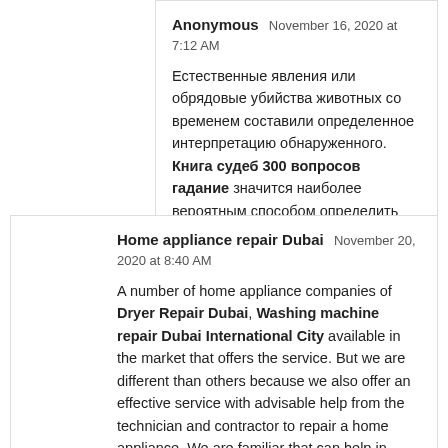Anonymous  November 16, 2020 at 7:12 AM

Естественные явления или обрядовые убийства животных со временем составили определенное интерпретацию обнаруженного. Книга судеб 300 вопросов гадание значится наиболее вероятным способом определить будущее человека. Ранние методы гадания появились тысячелетия тому назад до нашей эры.

REPLY
Home appliance repair Dubai  November 20, 2020 at 8:40 AM

A number of home appliance companies of Dryer Repair Dubai, Washing machine repair Dubai International City available in the market that offers the service. But we are different than others because we also offer an effective service with advisable help from the technician and contractor to repair a home appliance. We are familiar that can help in